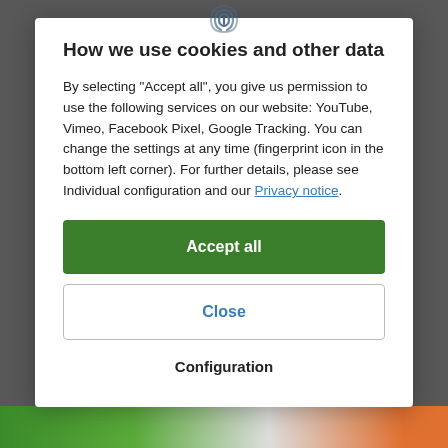[Figure (screenshot): Fingerprint icon at the top center of a cookie consent modal dialog]
How we use cookies and other data
By selecting "Accept all", you give us permission to use the following services on our website: YouTube, Vimeo, Facebook Pixel, Google Tracking. You can change the settings at any time (fingerprint icon in the bottom left corner). For further details, please see Individual configuration and our Privacy notice.
Accept all
Close
Configuration